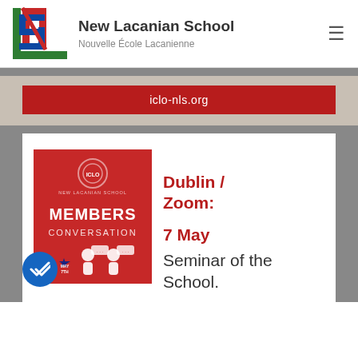[Figure (logo): New Lacanian School / Nouvelle École Lacanienne logo — interlocked N, S, L letters in red, blue, green on white background]
New Lacanian School
Nouvelle École Lacanienne
iclo-nls.org
[Figure (infographic): Red square event poster reading MEMBERS CONVERSATION with a MAY 7TH star badge and speech bubble icons of three people talking]
Dublin / Zoom:
7 May
Seminar of the School.